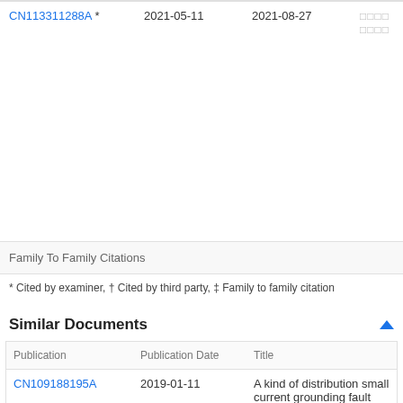| Publication | Publication Date | Publication Date 2 | Assignee |
| --- | --- | --- | --- |
| CN113311288A * | 2021-05-11 | 2021-08-27 | □□□□ □□□□ |
Family To Family Citations
* Cited by examiner, † Cited by third party, ‡ Family to family citation
Similar Documents
| Publication | Publication Date | Title |
| --- | --- | --- |
| CN109188195A | 2019-01-11 | A kind of distribution small current grounding fault localization method and system |
| CN102035260B | 2012-08-15 | Intelligent warning and fault analysis realizing |